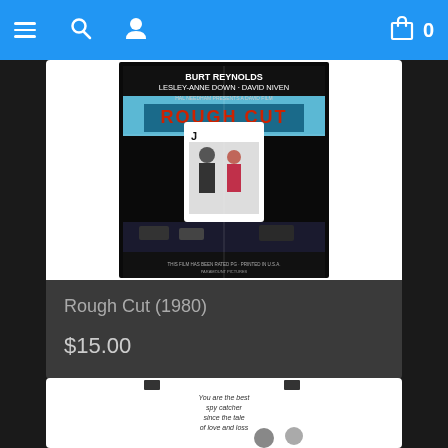Navigation bar with menu, search, user, cart icons and cart count 0
[Figure (photo): Movie poster for Rough Cut (1980) featuring Burt Reynolds and Lesley-Anne Down, displayed on a white background product card]
Rough Cut (1980)
$15.00
[Figure (photo): Partial view of a second movie poster product card at the bottom of the page, white background with text visible]